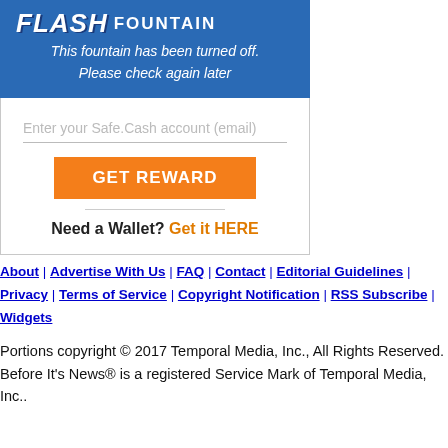FLASH FOUNTAIN
This fountain has been turned off. Please check again later
Enter your Safe.Cash account (email)
GET REWARD
Need a Wallet? Get it HERE
About | Advertise With Us | FAQ | Contact | Editorial Guidelines | Privacy | Terms of Service | Copyright Notification | RSS Subscribe | Widgets
Portions copyright © 2017 Temporal Media, Inc., All Rights Reserved.
Before It's News® is a registered Service Mark of Temporal Media, Inc..